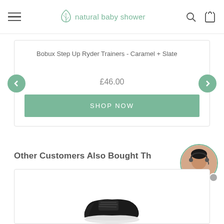natural baby shower
Bobux Step Up Ryder Trainers - Caramel + Slate
£46.00
SHOP NOW
Other Customers Also Bought Th...
[Figure (photo): Customer service representative avatar - woman with headset in circular frame with green border]
[Figure (photo): Black baby/toddler shoe (trainer) shown on white background inside product card]